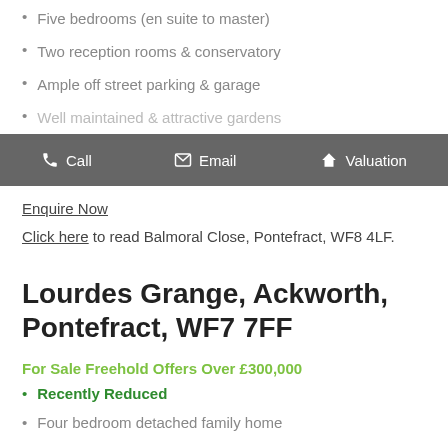Five bedrooms (en suite to master)
Two reception rooms & conservatory
Ample off street parking & garage
Well maintained & attractive gardens
[Figure (other): Dark grey toolbar with Call, Email, and Valuation buttons with icons]
Enquire Now
Click here to read Balmoral Close, Pontefract, WF8 4LF.
Lourdes Grange, Ackworth, Pontefract, WF7 7FF
For Sale Freehold Offers Over £300,000
Recently Reduced
Four bedroom detached family home